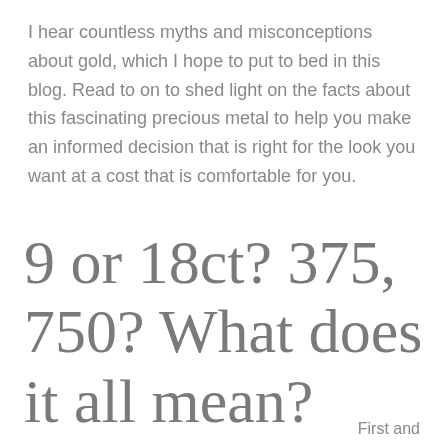I hear countless myths and misconceptions about gold, which I hope to put to bed in this blog. Read to on to shed light on the facts about this fascinating precious metal to help you make an informed decision that is right for the look you want at a cost that is comfortable for you.
9 or 18ct? 375, 750? What does it all mean?
First and